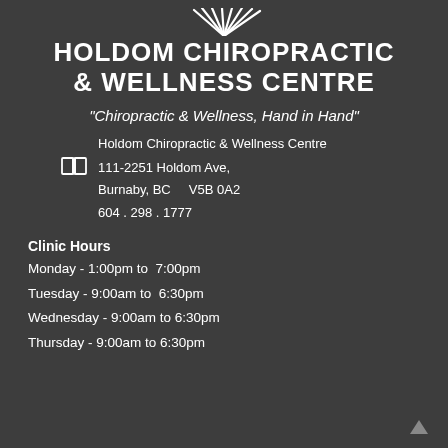[Figure (logo): Holdom Chiropractic & Wellness Centre logo with stylized lines above the text]
HOLDOM CHIROPRACTIC & WELLNESS CENTRE
“Chiropractic & Wellness, Hand in Hand”
Holdom Chiropractic & Wellness Centre
111-2251 Holdom Ave,
Burnaby, BC    V5B 0A2
604 . 298 . 1777
Clinic Hours
Monday - 1:00pm to  7:00pm
Tuesday - 9:00am to  6:30pm
Wednesday - 9:00am to 6:30pm
Thursday - 9:00am to 6:30pm